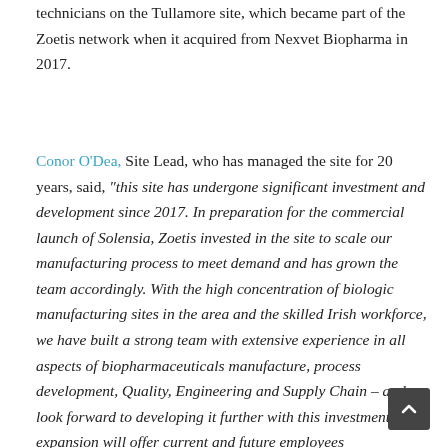technicians on the Tullamore site, which became part of the Zoetis network when it acquired from Nexvet Biopharma in 2017.
Conor O'Dea, Site Lead, who has managed the site for 20 years, said, "this site has undergone significant investment and development since 2017. In preparation for the commercial launch of Solensia, Zoetis invested in the site to scale our manufacturing process to meet demand and has grown the team accordingly. With the high concentration of biologic manufacturing sites in the area and the skilled Irish workforce, we have built a strong team with extensive experience in all aspects of biopharmaceuticals manufacture, process development, Quality, Engineering and Supply Chain – and we look forward to developing it further with this investment. The expansion will offer current and future employees